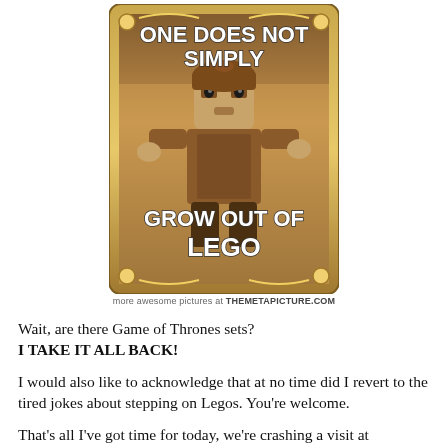[Figure (illustration): A meme image styled like a LEGO game screenshot with a decorative gold border. Shows a LEGO minifigure (resembling Boromir from Lord of the Rings) with white bold text overlay reading 'ONE DOES NOT SIMPLY GROW OUT OF LEGO']
more awesome pictures at THEMETAPICTURE.COM
Wait, are there Game of Thrones sets?
I TAKE IT ALL BACK!
I would also like to acknowledge that at no time did I revert to the tired jokes about stepping on Legos. You're welcome.
That's all I've got time for today, we're crashing a visit at